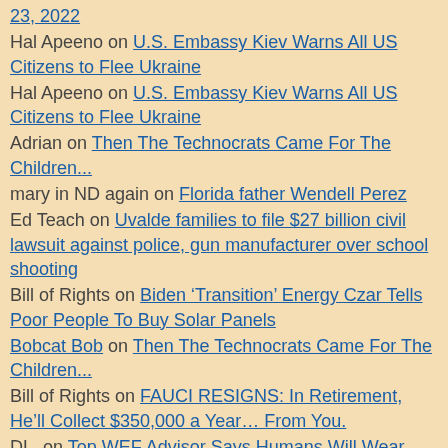23, 2022 (partial link)
Hal Apeeno on U.S. Embassy Kiev Warns All US Citizens to Flee Ukraine
Hal Apeeno on U.S. Embassy Kiev Warns All US Citizens to Flee Ukraine
Adrian on Then The Technocrats Came For The Children...
mary in ND again on Florida father Wendell Perez
Ed Teach on Uvalde families to file $27 billion civil lawsuit against police, gun manufacturer over school shooting
Bill of Rights on Biden ‘Transition’ Energy Czar Tells Poor People To Buy Solar Panels
Bobcat Bob on Then The Technocrats Came For The Children...
Bill of Rights on FAUCI RESIGNS: In Retirement, He’ll Collect $350,000 a Year… From You.
DL. on Top WEF Advisor Says Humans Will Wear ‘Biometric Sensors,’ be ‘Constantly Monitored’ by Chinese Government, Facebook, Google